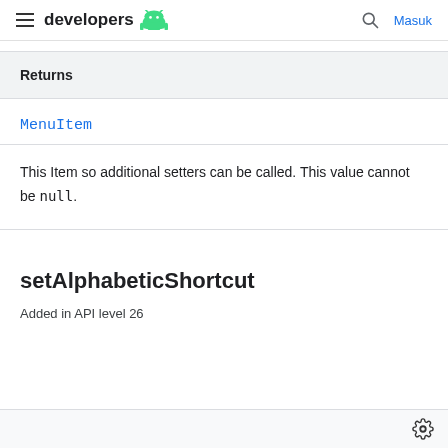developers (Android logo) | search | Masuk
Returns
MenuItem
This Item so additional setters can be called. This value cannot be null.
setAlphabeticShortcut
Added in API level 26